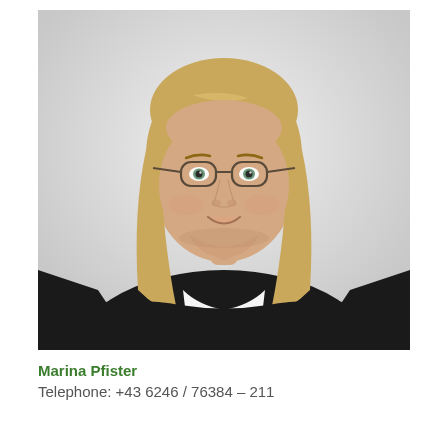[Figure (photo): Professional headshot of Marina Pfister, a woman with straight blonde hair, wearing glasses, a white patterned blouse, and a black cardigan, smiling against a light grey background.]
Marina Pfister
Telephone: +43 6246 / 76384 – 211